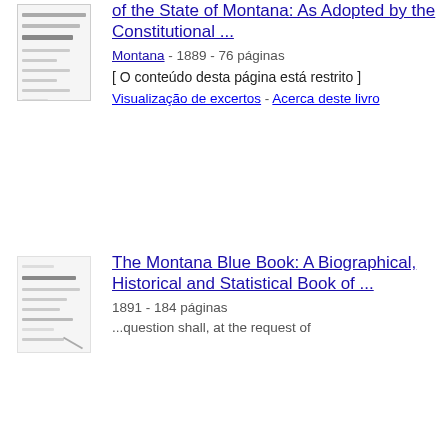[Figure (illustration): Thumbnail image of a book cover for Montana constitutional document]
of the State of Montana: As Adopted by the Constitutional ...
Montana - 1889 - 76 páginas
[ O conteúdo desta página está restrito ]
Visualização de excertos - Acerca deste livro
[Figure (illustration): Thumbnail image of The Montana Blue Book cover]
The Montana Blue Book: A Biographical, Historical and Statistical Book of ...
1891 - 184 páginas
...question shall, at the request of